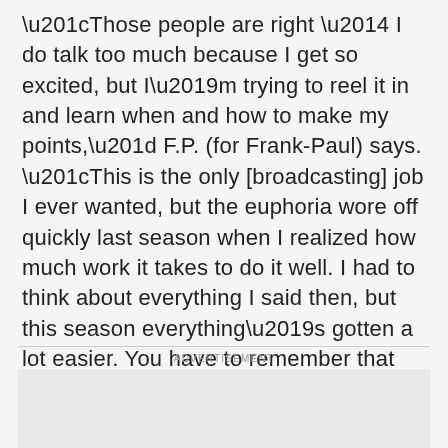“Those people are right — I do talk too much because I get so excited, but I’m trying to reel it in and learn when and how to make my points,” F.P. (for Frank-Paul) says. “This is the only [broadcasting] job I ever wanted, but the euphoria wore off quickly last season when I realized how much work it takes to do it well. I had to think about everything I said then, but this season everything’s gotten a lot easier. You have to remember that it’s all about the game and the players, not about you.”
ADVERTISEMENT